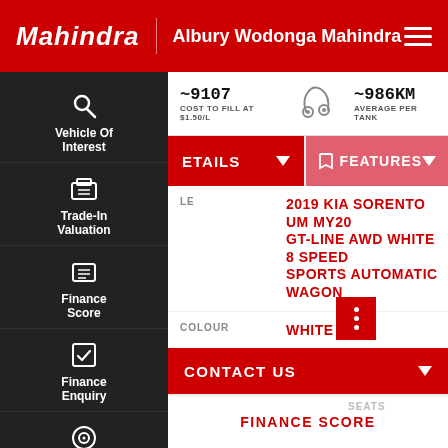Mahindra | Albury Wodonga Mahindra
~9107 COST TO FILL AT $1.50/L
~986KM AVERAGE PER TANK
ETAILS | FEATURES
Vehicle Of Interest
Trade-In Valuation
Finance Score
Finance Enquiry
Book A Test Drive
LE: 2019 KIA SORENTO UM MY20 GT-LINE AWD WHITE 8 SPEED SPORTS AUTOMATIC WAGON
COLOUR: WHITE
CONTACT US
SEATS
FINANCE SCORE